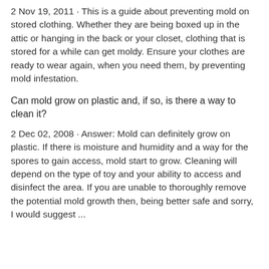2 Nov 19, 2011 · This is a guide about preventing mold on stored clothing. Whether they are being boxed up in the attic or hanging in the back or your closet, clothing that is stored for a while can get moldy. Ensure your clothes are ready to wear again, when you need them, by preventing mold infestation.
Can mold grow on plastic and, if so, is there a way to clean it?
2 Dec 02, 2008 · Answer: Mold can definitely grow on plastic. If there is moisture and humidity and a way for the spores to gain access, mold start to grow. Cleaning will depend on the type of toy and your ability to access and disinfect the area. If you are unable to thoroughly remove the potential mold growth then, being better safe and sorry, I would suggest ...